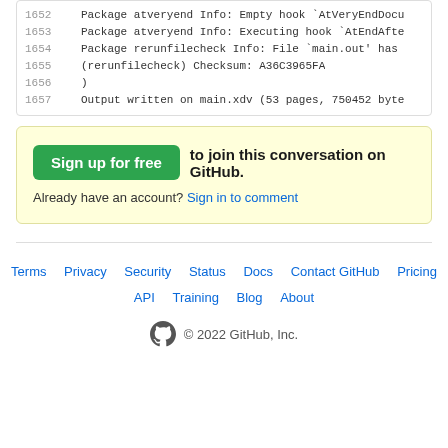1652  Package atveryend Info: Empty hook `AtVeryEndDocu
1653  Package atveryend Info: Executing hook `AtEndAfte
1654  Package rerunfilecheck Info: File `main.out' has
1655  (rerunfilecheck)           Checksum: A36C3965FA
1656  )
1657  Output written on main.xdv (53 pages, 750452 byte
Sign up for free to join this conversation on GitHub. Already have an account? Sign in to comment
Terms  Privacy  Security  Status  Docs  Contact GitHub  Pricing  API  Training  Blog  About  © 2022 GitHub, Inc.